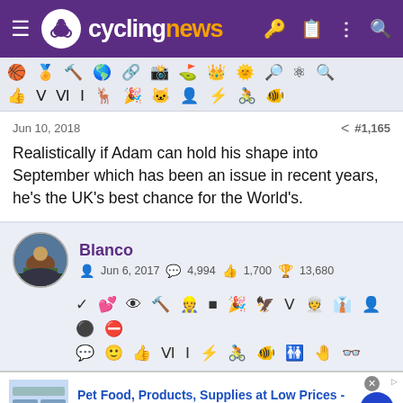cyclingnews
[Figure (screenshot): Row of cycling achievement icons/badges in a strip]
Jun 10, 2018	#1,165
Realistically if Adam can hold his shape into September which has been an issue in recent years, he's the UK's best chance for the World's.
Blanco
Jun 6, 2017  4,994  1,700  13,680
[Figure (screenshot): User badge/achievement icons rows]
[Figure (screenshot): Advertisement: Pet Food, Products, Supplies at Low Prices - Chewy.com]